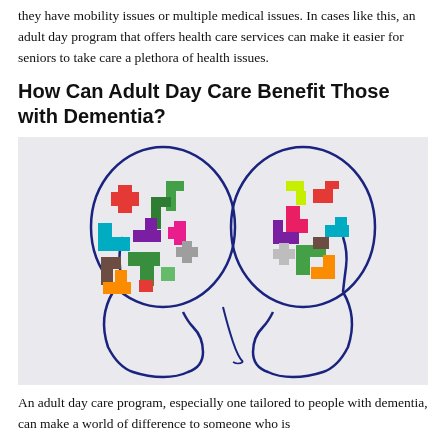they have mobility issues or multiple medical issues. In cases like this, an adult day program that offers health care services can make it easier for seniors to take care a plethora of health issues.
How Can Adult Day Care Benefit Those with Dementia?
[Figure (photo): Two outlined human head silhouettes facing each other, with colorful puzzle pieces (Tetris-like blocks) filling the brain area inside each head, suggesting cognitive activity or brain puzzle concept.]
An adult day care program, especially one tailored to people with dementia, can make a world of difference to someone who is